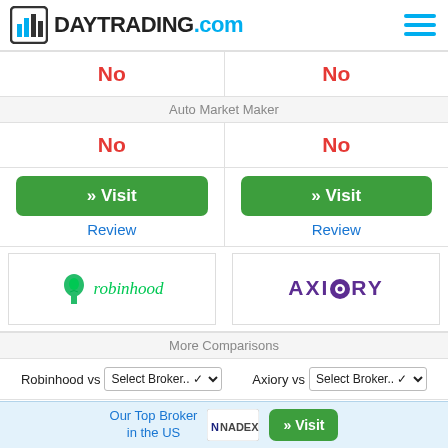DAYTRADING.com
| Robinhood | Axiory |
| --- | --- |
| No | No |
| Auto Market Maker | Auto Market Maker |
| No | No |
| » Visit / Review | » Visit / Review |
| [Robinhood logo] | [Axiory logo] |
More Comparisons
Robinhood vs  Select Broker..    Axiory vs  Select Broker..
Our Top Broker in the US  NADEX  » Visit